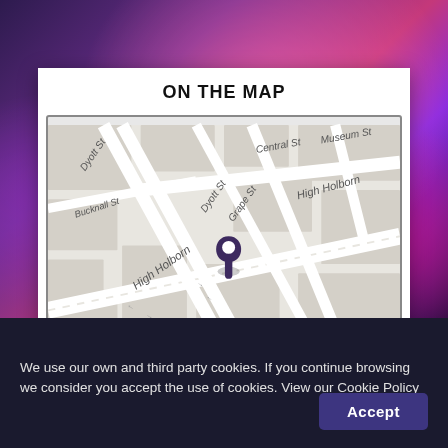ON THE MAP
[Figure (map): Street map showing location pin at High Holborn area in London. Streets visible include Dyott St, Bucknall St, Central St, Museum St, Grape St, High Holborn. A dark purple location pin marks the venue.]
We use our own and third party cookies. If you continue browsing we consider you accept the use of cookies. View our Cookie Policy
Accept